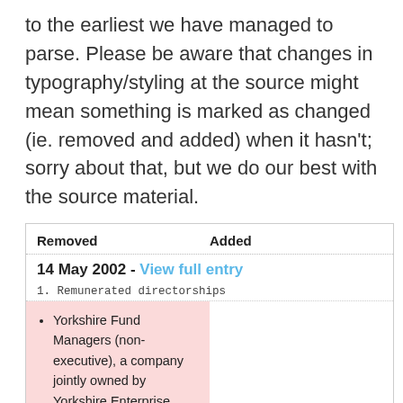to the earliest we have managed to parse. Please be aware that changes in typography/styling at the source might mean something is marked as changed (ie. removed and added) when it hasn't; sorry about that, but we do our best with the source material.
| Removed | Added |
| --- | --- |
| 14 May 2002 - View full entry |  |
| 1. Remunerated directorships |  |
| Yorkshire Fund Managers (non-executive), a company jointly owned by Yorkshire Enterprise Ltd., a publicly owned regional venture capital company, |  |